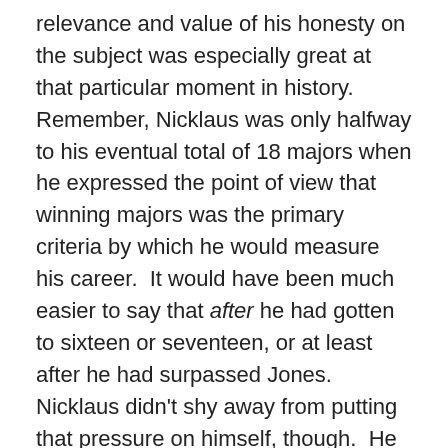relevance and value of his honesty on the subject was especially great at that particular moment in history. Remember, Nicklaus was only halfway to his eventual total of 18 majors when he expressed the point of view that winning majors was the primary criteria by which he would measure his career. It would have been much easier to say that after he had gotten to sixteen or seventeen, or at least after he had surpassed Jones. Nicklaus didn't shy away from putting that pressure on himself, though. He seemed to revel in it.
Woods was more reserved after his win last Sunday, but that speaks more to the era than it does to the intentions of the athlete. There's little doubt that Woods' top priority for the remainder of his career is to own the major record before he retires.